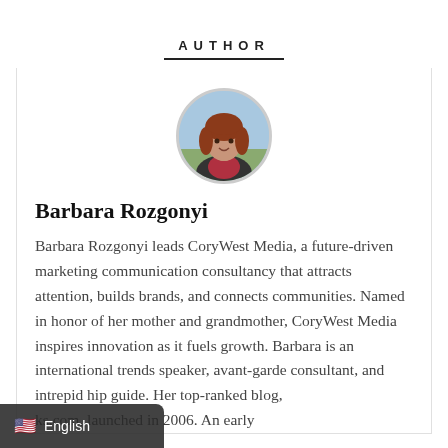AUTHOR
[Figure (photo): Circular portrait photo of Barbara Rozgonyi, a woman with reddish-brown hair, wearing a dark jacket over a red top, with an outdoor background.]
Barbara Rozgonyi
Barbara Rozgonyi leads CoryWest Media, a future-driven marketing communication consultancy that attracts attention, builds brands, and connects communities. Named in honor of her mother and grandmother, CoryWest Media inspires innovation as it fuels growth. Barbara is an international trends speaker, avant-garde consultant, and intrepid hip guide. Her top-ranked blog, ks.com, launched in 2006. An early
English